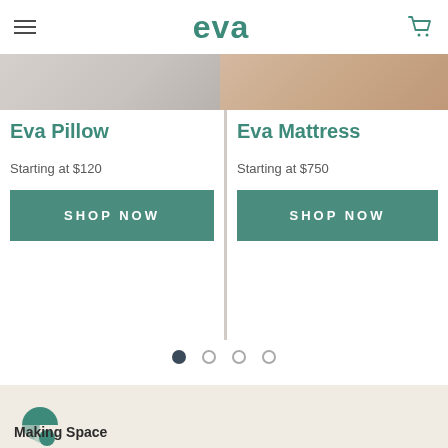eva
[Figure (photo): Two product images side by side — left: Eva Pillow (grey/white), right: Eva Mattress (warm tan/wood tones)]
Eva Pillow
Starting at $120
SHOP NOW
Eva Mattress
Starting at $750
SHOP NOW
[Figure (illustration): Pagination dots: one filled dark circle and three empty circles]
[Figure (logo): Eva brand logo mark — teal circle/pie chart icon]
Making Space